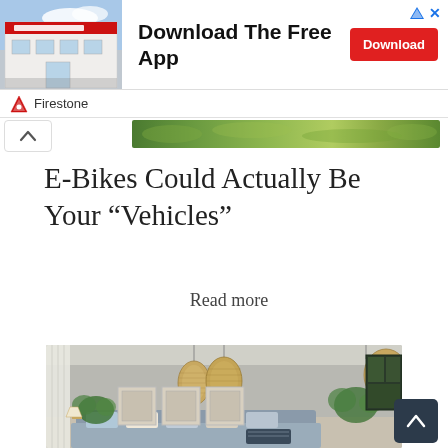[Figure (screenshot): Firestone store building advertisement banner with 'Download The Free App' text and red Download button]
Firestone
[Figure (photo): Green foliage/nature strip image]
E-Bikes Could Actually Be Your “Vehicles”
Read more
[Figure (photo): Interior living room scene with pendant wicker lamps, framed wall art, green plants, sofa with cushions]